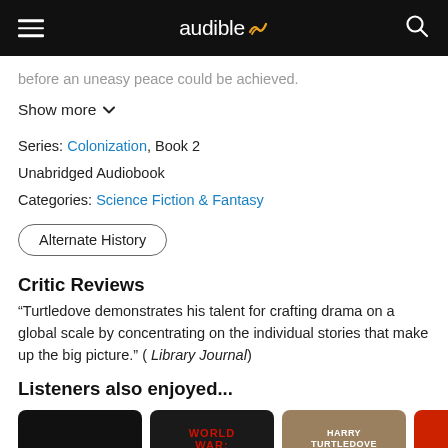audible
before an uneasy peace could be achieved.
Show more
Series: Colonization, Book 2
Unabridged Audiobook
Categories: Science Fiction & Fantasy
Alternate History
Critic Reviews
“Turtledove demonstrates his talent for crafting drama on a global scale by concentrating on the individual stories that make up the big picture.” ( Library Journal)
Listeners also enjoyed...
[Figure (screenshot): Three book cover thumbnails partially visible at the bottom: a dark/black cover, a World War cover with red text, and a Harry Turtledove cover]